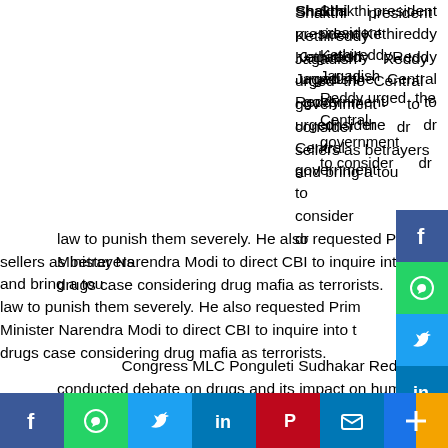Shakthi president Kethireddy Jagadish Reddy urged the Central government to consider drug sellers as betrayers and bring a tough law to punish them severely. He also requested Prime Minister Narendra Modi to direct CBI to inquire into the drugs case considering drug mafia as terrorists.
Congress MLC Ponguleti Sudhakar Reddy conducted debate on drugs and its impact on human society at Somajiguda Press Club here on Friday. Speaking on the occasion, Ponguleti alleged that drug...